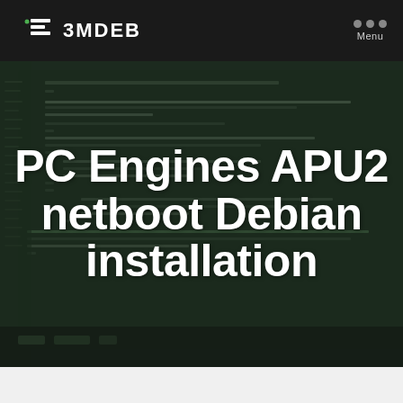3MDEB
PC Engines APU2 netboot Debian installation
[Figure (screenshot): Dark-themed code editor screenshot showing C/assembly code, displayed on a monitor with a keyboard. Background for the article title overlay.]